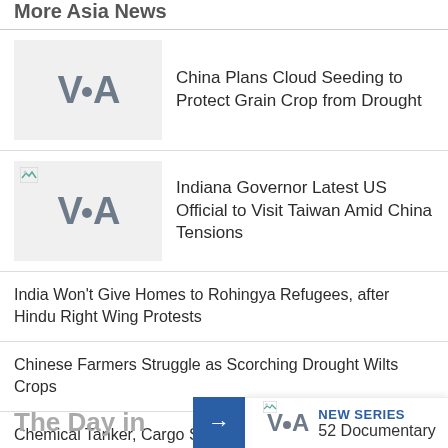More Asia News
[Figure (logo): VOA logo thumbnail for China Plans Cloud Seeding article]
China Plans Cloud Seeding to Protect Grain Crop from Drought
[Figure (logo): VOA logo thumbnail for Indiana Governor article]
Indiana Governor Latest US Official to Visit Taiwan Amid China Tensions
India Won't Give Homes to Rohingya Refugees, after Hindu Right Wing Protests
Chinese Farmers Struggle as Scorching Drought Wilts Crops
Chemical Tanker, Cargo Ship Crash Near Southwestern Japan
The Day in
[Figure (logo): VOA logo in new series banner]
NEW SERIES
52 Documentary